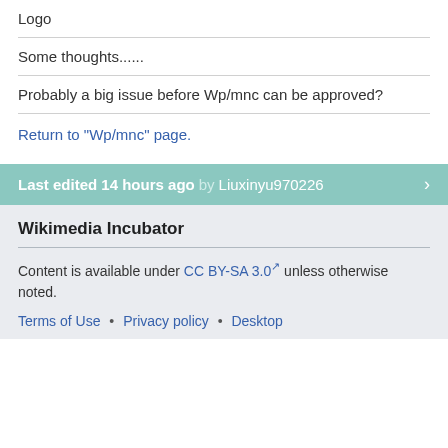Logo
Some thoughts......
Probably a big issue before Wp/mnc can be approved?
Return to "Wp/mnc" page.
Last edited 14 hours ago by Liuxinyu970226
Wikimedia Incubator
Content is available under CC BY-SA 3.0 unless otherwise noted.
Terms of Use • Privacy policy • Desktop